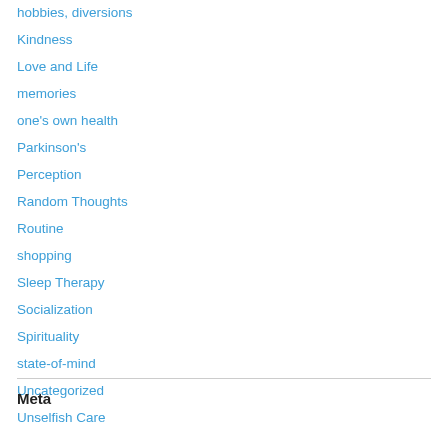hobbies, diversions
Kindness
Love and Life
memories
one's own health
Parkinson's
Perception
Random Thoughts
Routine
shopping
Sleep Therapy
Socialization
Spirituality
state-of-mind
Uncategorized
Unselfish Care
Meta